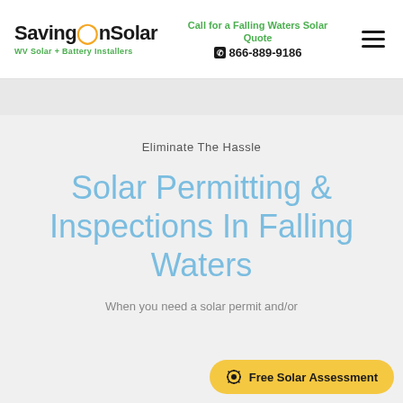SavingOnSolar — WV Solar + Battery Installers | Call for a Falling Waters Solar Quote | 866-889-9186
Eliminate The Hassle
Solar Permitting & Inspections In Falling Waters
When you need a solar permit and/or
[Figure (other): Free Solar Assessment CTA button in yellow/gold color]